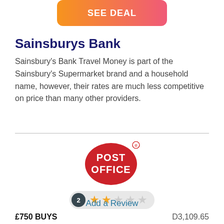[Figure (other): Orange-to-pink gradient button with white bold text 'SEE DEAL']
Sainsburys Bank
Sainsbury's Bank Travel Money is part of the Sainsbury's Supermarket brand and a household name, however, their rates are much less competitive on price than many other providers.
[Figure (logo): Post Office logo: red oval with white bold text 'POST OFFICE' and a small registered trademark circle symbol]
[Figure (other): Rating bar showing number 2 in dark circle and 2 filled gold stars out of 5]
Add a Review
£750 BUYS    D3,109.65